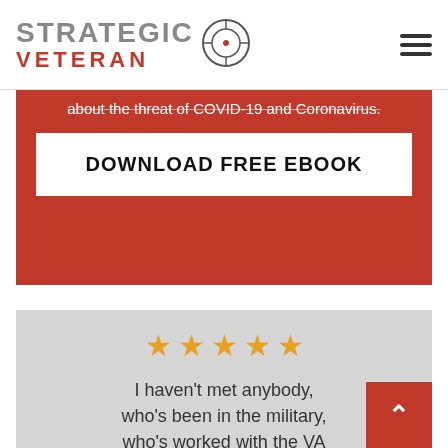[Figure (logo): Strategic Veteran logo with crosshair/scope icon. Text reads STRATEGIC in gray and VETERAN in red.]
about the threat of COVID-19 and Coronavirus.
DOWNLOAD FREE EBOOK
[Figure (other): Five gold star rating icons]
I haven't met anybody, who's been in the military, who's worked with the VA